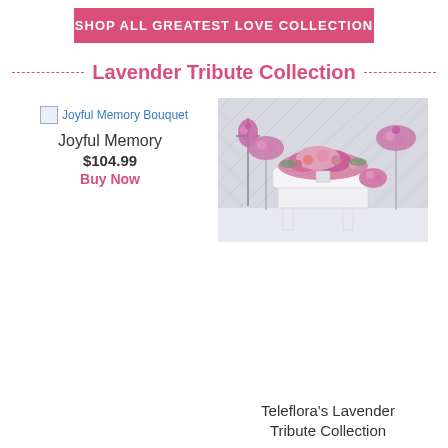SHOP ALL GREATEST LOVE COLLECTION
Lavender Tribute Collection
[Figure (photo): Broken image placeholder link for Joyful Memory Bouquet]
Joyful Memory
$104.99
Buy Now
[Figure (photo): Photo of a funeral flower arrangement with cross, casket spray, and standing sprays in pink and lavender tones on a white casket.]
Teleflora's Lavender Tribute Collection